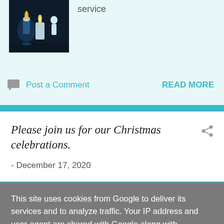[Figure (photo): Small thumbnail image of candles on a dark background]
service
Post a Comment
READ MORE
Please join us for our Christmas celebrations.
- December 17, 2020
This site uses cookies from Google to deliver its services and to analyze traffic. Your IP address and user-agent are shared with Google along with performance and security metrics to ensure quality of service, generate usage statistics, and to detect and address abuse.
LEARN MORE   OK